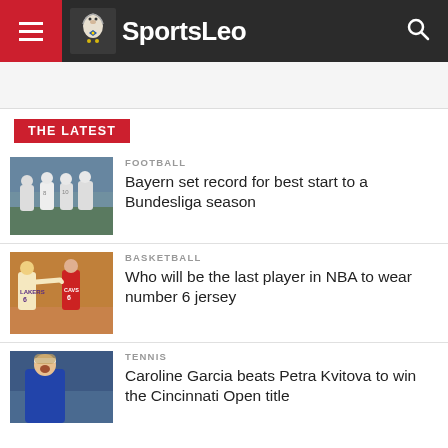SportsLeo
THE LATEST
[Figure (photo): Football players in white jerseys gathered on a pitch]
FOOTBALL
Bayern set record for best start to a Bundesliga season
[Figure (photo): Basketball players including Lakers number 6 in action]
BASKETBALL
Who will be the last player in NBA to wear number 6 jersey
[Figure (photo): Tennis player celebrating, mouth open, wearing white headband]
TENNIS
Caroline Garcia beats Petra Kvitova to win the Cincinnati Open title